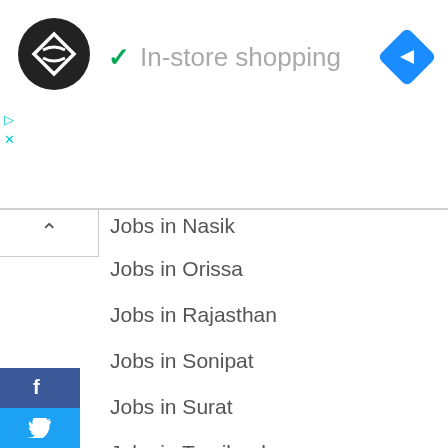[Figure (logo): Black circle logo with double arrow icon (CodePen or similar), next to 'In-store shopping' text with checkmark and navigation diamond icon]
Jobs in Nasik
Jobs in Orissa
Jobs in Rajasthan
Jobs in Sonipat
Jobs in Surat
Jobs in Tamilnadu
Jobs in Telangana
Jobs in Uttarakhand
Jobs in Vadodara
Jobs in West bengal